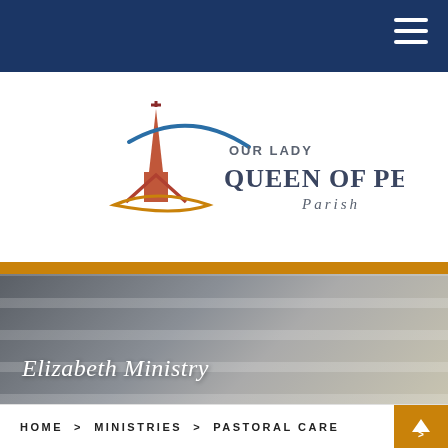[Figure (logo): Our Lady Queen of Peace Parish logo with church spire and swoosh graphic]
[Figure (photo): Close-up photo of a pregnant woman in a gray striped sweater holding her belly]
Elizabeth Ministry
HOME > MINISTRIES > PASTORAL CARE